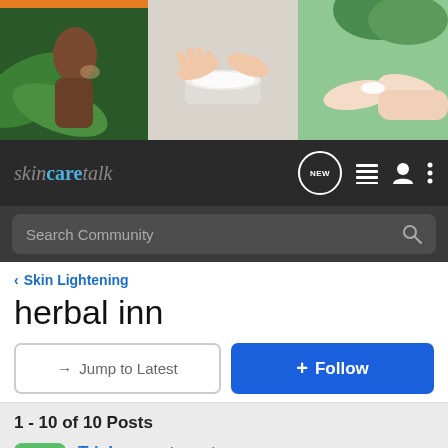[Figure (photo): Banner with skincare/beauty images: woman with green leaf, hands with cream, spa treatment]
skincaretalk — navigation bar with NEW bubble, list icon, user icon, menu icon, and Search Community search bar
< Skin Lightening
herbal inn
→ Jump to Latest | + Follow
1 - 10 of 10 Posts
Trisha · Registered
Joined Aug 5, 2006 · 291 Posts